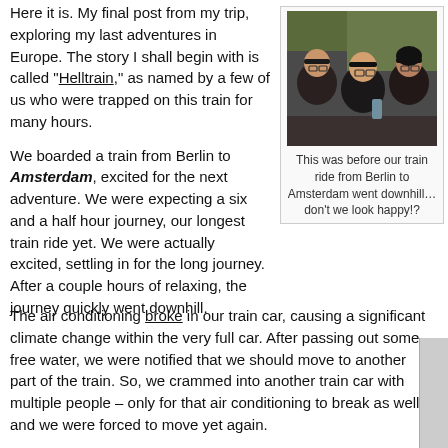Here it is. My final post from my trip, exploring my last adventures in Europe. The story I shall begin with is called “Helltrain,” as named by a few of us who were trapped on this train for many hours.
[Figure (photo): Three people taking a selfie on a train, smiling at the camera]
This was before our train ride from Berlin to Amsterdam went downhill… don’t we look happy!?
We boarded a train from Berlin to Amsterdam, excited for the next adventure. We were expecting a six and a half hour journey, our longest train ride yet. We were actually excited, settling in for the long journey. After a couple hours of relaxing, the journey quickly went downhill.
The air conditioning broke in our train car, causing a significant climate change within the very full car. After passing out some free water, we were notified that we should move to another part of the train. So, we crammed into another train car with multiple people – only for that air conditioning to break as well and we were forced to move yet again.